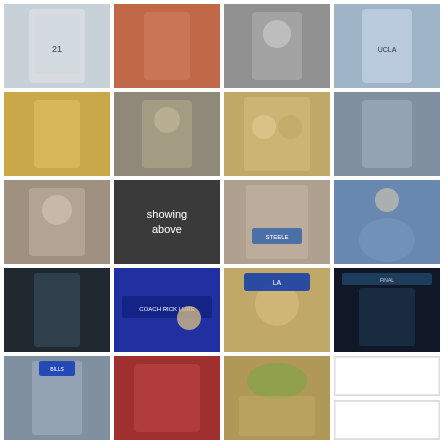[Figure (photo): Football player in white jersey #21 carrying ball]
[Figure (photo): Female athlete in red uniform running/throwing]
[Figure (photo): Woman smiling at microphone]
[Figure (photo): Basketball player in UCLA white uniform]
[Figure (photo): Female basketball player in yellow uniform dribbling]
[Figure (photo): Young man in olive shirt holding clipboard, yellow hard hat]
[Figure (photo): Couple at event, woman in pink dress, man in suit]
[Figure (photo): Man in gray suit gesturing, basketball sideline]
[Figure (photo): Older man in polo shirt at basketball event]
[Figure (other): Dark gray box with text 'showing above']
[Figure (photo): Large man in white t-shirt with Steele campaign sign]
[Figure (photo): Basketball player dunking near hoop]
[Figure (photo): Basketball player jumping in dark arena]
[Figure (photo): TV broadcast set with anchor and text 'COACH RICK LURE']
[Figure (photo): Baseball manager in LA Dodgers blue cap laughing]
[Figure (photo): Basketball player dunking at Final game]
[Figure (photo): Football player in Buffalo Bills uniform]
[Figure (photo): Person at sports arena/stadium event]
[Figure (photo): Group of people outdoors under tree]
[Figure (other): White empty box placeholder]
[Figure (other): White empty box placeholder second]